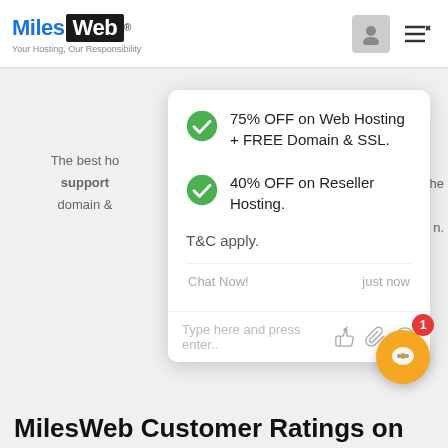[Figure (logo): MilesWeb logo with tagline 'Your Hosting, Our Responsibility']
The best ho... the support domain &...
75% OFF on Web Hosting + FREE Domain & SSL.
40% OFF on Reseller Hosting.
T&C apply.
Chat Now!
just now
Type here and press enter..
MilesWeb Customer Ratings on